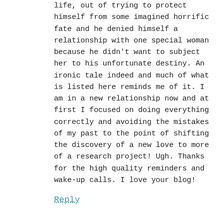life, out of trying to protect himself from some imagined horrific fate and he denied himself a relationship with one special woman because he didn't want to subject her to his unfortunate destiny. An ironic tale indeed and much of what is listed here reminds me of it. I am in a new relationship now and at first I focused on doing everything correctly and avoiding the mistakes of my past to the point of shifting the discovery of a new love to more of a research project! Ugh. Thanks for the high quality reminders and wake-up calls. I love your blog!
Reply